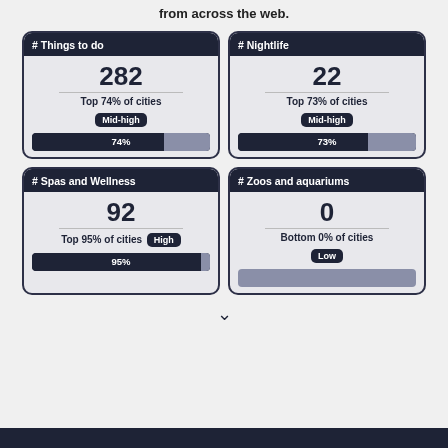from across the web.
[Figure (infographic): Four stat cards: Things to do 282 (Top 74% Mid-high), Nightlife 22 (Top 73% Mid-high), Spas and Wellness 92 (Top 95% High), Zoos and aquariums 0 (Bottom 0% Low)]
▼
[Figure (other): Bottom dark bar]